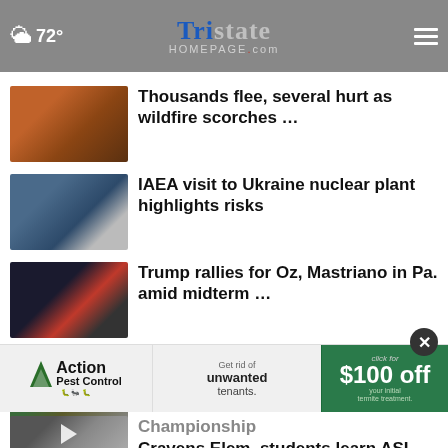Tristate Homepage.com — 72°
Thousands flee, several hurt as wildfire scorches …
IAEA visit to Ukraine nuclear plant highlights risks
Trump rallies for Oz, Mastriano in Pa. amid midterm …
Cherry Street project extended; Mayor tells more
Cravens Elem. students learn ASL for Pledge of Allegiance
… Tour Championship
[Figure (advertisement): Action Pest Control ad: Get rid of unwanted tenants. $100 off your initial termite treatment.]